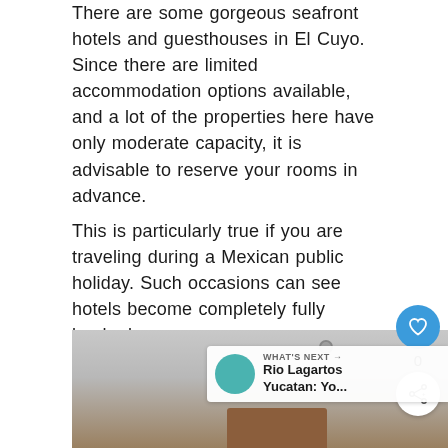There are some gorgeous seafront hotels and guesthouses in El Cuyo. Since there are limited accommodation options available, and a lot of the properties here have only moderate capacity, it is advisable to reserve your rooms in advance.
This is particularly true if you are traveling during a Mexican public holiday. Such occasions can see hotels become completely fully booked.
Casa Cielo, El Cuyo
[Figure (photo): Interior photo of a room at Casa Cielo, El Cuyo, showing a white ceiling with recessed lights and a wooden headboard or furniture element at the bottom]